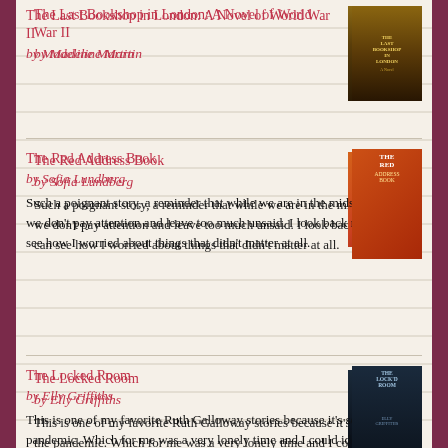The Last Bookshop in London: A Novel of World War II by Madeline Martin
The Red Address Book by Sofia Lundberg
Such a poignant story, a reminder that while we are in the midst of living, we don't pay attention and leave too much unsaid. I look back now and can see how I worried about things that didn't matter at all.
The Locked Room by Elly Griffiths
This is one of my favorite Ruth Galloway stories because it's set during the pandemic. Which for me was a very lonely time and I could identify with the emotions and fear all the characters were feeling. It also resonated with me because...
The Newcomer